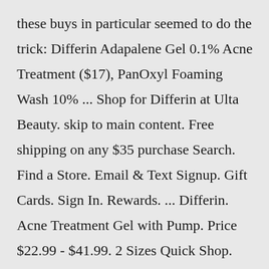these buys in particular seemed to do the trick: Differin Adapalene Gel 0.1% Acne Treatment ($17), PanOxyl Foaming Wash 10% ... Shop for Differin at Ulta Beauty. skip to main content. Free shipping on any $35 purchase Search. Find a Store. Email & Text Signup. Gift Cards. Sign In. Rewards. ... Differin. Acne Treatment Gel with Pump. Price $22.99 - $41.99. 2 Sizes Quick Shop. 3.40 out of 5 stars (7 reviews) Differin.